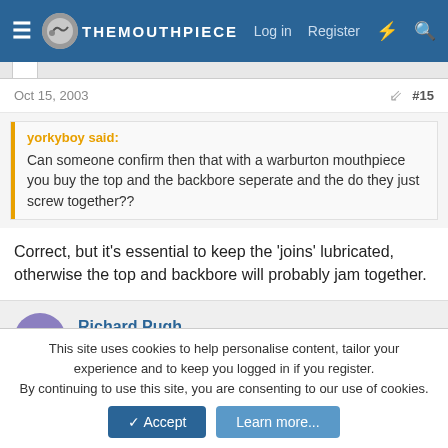The Mouthpiece | Log in | Register
Oct 15, 2003 | #15
yorkyboy said:
Can someone confirm then that with a warburton mouthpiece you buy the top and the backbore seperate and the do they just screw together??
Correct, but it's essential to keep the 'joins' lubricated, otherwise the top and backbore will probably jam together.
Richard Pugh
New Member
This site uses cookies to help personalise content, tailor your experience and to keep you logged in if you register.
By continuing to use this site, you are consenting to our use of cookies.
Accept | Learn more...